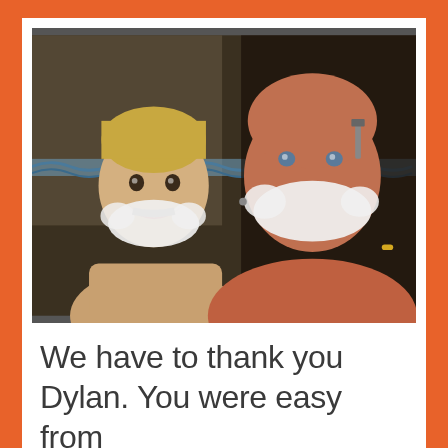[Figure (photo): A young blond boy and a shirtless adult man both have shaving cream on their faces, posing together in a bathroom. The man holds a razor. Both are smiling.]
We have to thank you Dylan. You were easy from